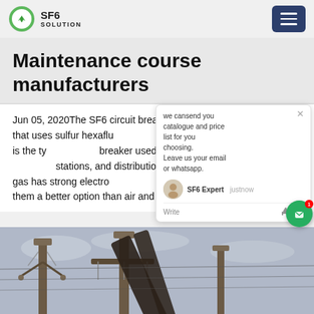SF6 SOLUTION
Maintenance course manufacturers
Jun 05, 2020The SF6 circuit breaker extinguisher that uses sulfur hexafluoride to cool and quench the arc. It is the type of breaker used to protect electrical grids, stations, and distribution systems. Sulfur hexafluoride gas has strong electronegative and insulating properties, making them a better option than air and oil circuit breakers.
[Figure (photo): Electrical substation with tall circuit breaker columns and power lines against a cloudy sky]